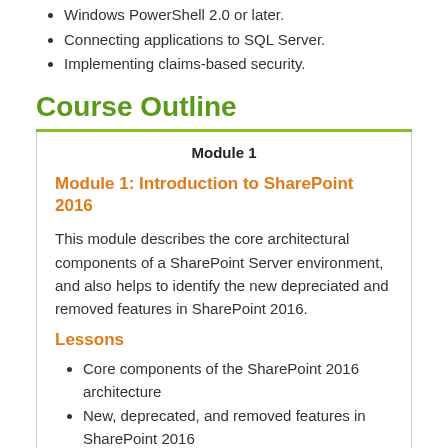Windows PowerShell 2.0 or later.
Connecting applications to SQL Server.
Implementing claims-based security.
Course Outline
Module 1
Module 1: Introduction to SharePoint 2016
This module describes the core architectural components of a SharePoint Server environment, and also helps to identify the new depreciated and removed features in SharePoint 2016.
Lessons
Core components of the SharePoint 2016 architecture
New, deprecated, and removed features in SharePoint 2016